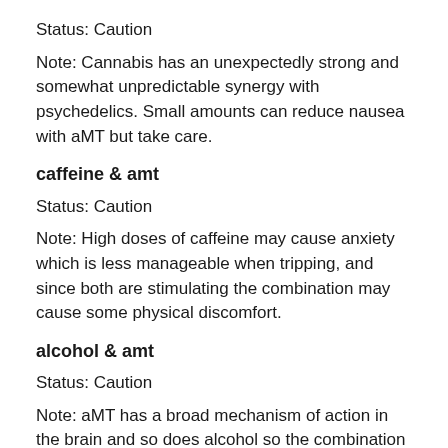Status: Caution
Note: Cannabis has an unexpectedly strong and somewhat unpredictable synergy with psychedelics. Small amounts can reduce nausea with aMT but take care.
caffeine & amt
Status: Caution
Note: High doses of caffeine may cause anxiety which is less manageable when tripping, and since both are stimulating the combination may cause some physical discomfort.
alcohol & amt
Status: Caution
Note: aMT has a broad mechanism of action in the brain and so does alcohol so the combination can be unpredictable
opioids & amt